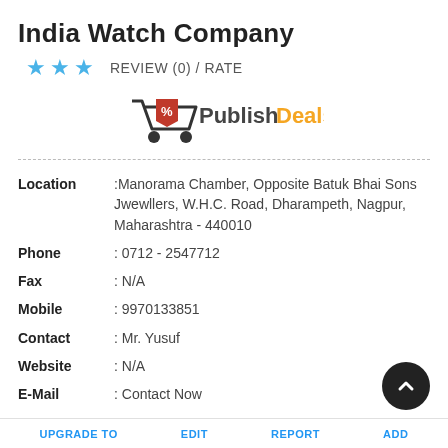India Watch Company
★ ★ ★  REVIEW (0) / RATE
[Figure (logo): Publish Deals logo with shopping cart icon]
Location :Manorama Chamber, Opposite Batuk Bhai Sons Jwewllers, W.H.C. Road, Dharampeth, Nagpur, Maharashtra - 440010
Phone : 0712 - 2547712
Fax : N/A
Mobile : 9970133851
Contact : Mr. Yusuf
Website : N/A
E-Mail : Contact Now
UPGRADE TO   EDIT   REPORT   ADD